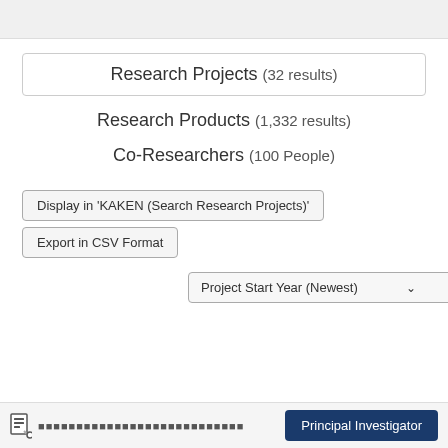Research Projects (32 results)
Research Products (1,332 results)
Co-Researchers (100 People)
Display in 'KAKEN (Search Research Projects)'
Export in CSV Format
Project Start Year (Newest)
Principal Investigator